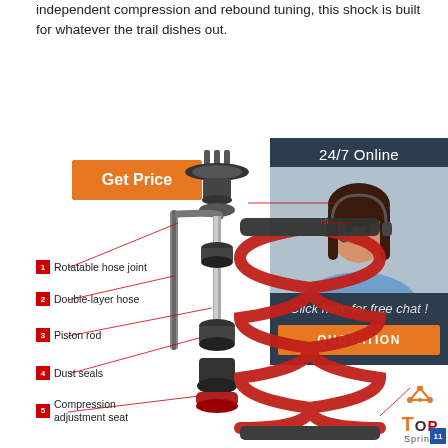independent compression and rebound tuning, this shock is built for whatever the trail dishes out.
[Figure (other): Orange 'Get Price' button]
[Figure (other): 24/7 Online chat widget with female customer service agent photo, 'Click here for free chat!' text, and orange QUOTATION button]
[Figure (engineering-diagram): Exploded diagram of a coilover shock absorber with numbered callout labels: 1 Rotatable hose joint, 2 Double-layer hose, 3 Piston rod, 4 Dust seals, 5 Compression adjustment seat. Shows piston rod assembly and red coil spring with label 11 TOP Spring.]